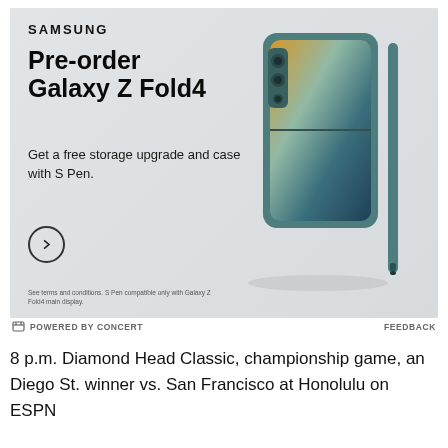[Figure (advertisement): Samsung Galaxy Z Fold4 pre-order advertisement. Dark teal/slate background with Samsung logo at top left. Large bold headline 'Pre-order Galaxy Z Fold4'. Subtext: 'Get a free storage upgrade and case with S Pen.' Circle arrow button. Bottom disclaimer text. Right side shows Samsung Galaxy Z Fold4 phone in teal case with S Pen stylus.]
⊕ POWERED BY CONCERT                                        FEEDBACK
8 p.m. Diamond Head Classic, championship game, an Diego St. winner vs. San Francisco at Honolulu on ESPN